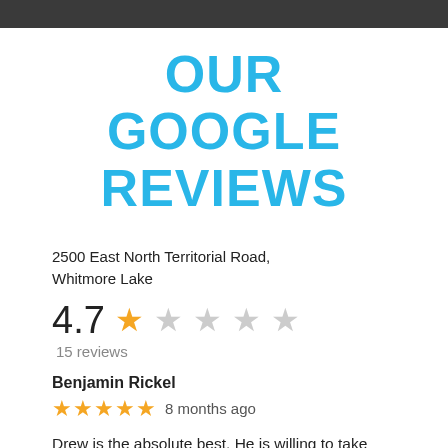OUR GOOGLE REVIEWS
2500 East North Territorial Road, Whitmore Lake
4.7 ★ ☆ ☆ ☆ ☆
15 reviews
Benjamin Rickel
★★★★★ 8 months ago
Drew is the absolute best. He is willing to take time and help you understand all the details of what you are getting. He